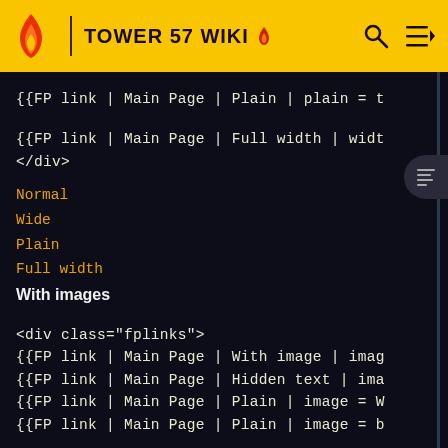TOWER 57 WIKI
{{FP link | Main Page | Plain | plain = t
{{FP link | Main Page | Full width | widt
</div>
Normal
Wide
Plain
Full width
With images
<div class="fplinks">
{{FP link | Main Page | With image | imag
{{FP link | Main Page | Hidden text | ima
{{FP link | Main Page | Plain | image = W
{{FP link | Main Page | Plain | image = b